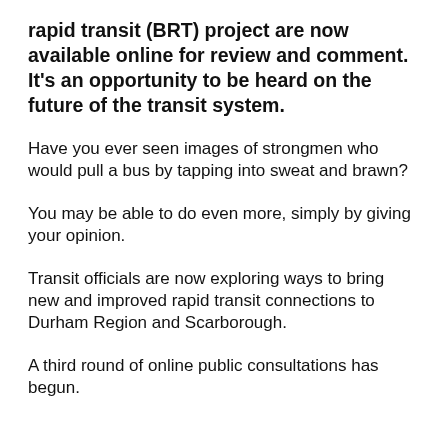rapid transit (BRT) project are now available online for review and comment. It’s an opportunity to be heard on the future of the transit system.
Have you ever seen images of strongmen who would pull a bus by tapping into sweat and brawn?
You may be able to do even more, simply by giving your opinion.
Transit officials are now exploring ways to bring new and improved rapid transit connections to Durham Region and Scarborough.
A third round of online public consultations has begun.